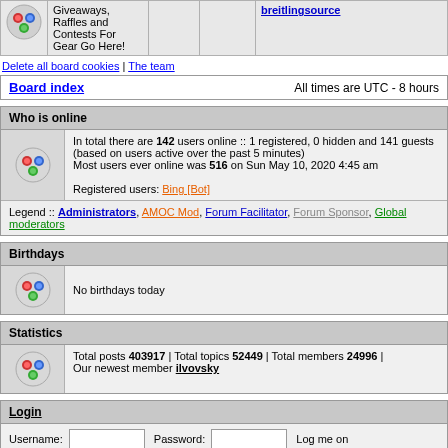| Icon | Text |  |  | Link |
| --- | --- | --- | --- | --- |
|  | Giveaways, Raffles and Contests For Gear Go Here! |  |  | breitlingsource |
Delete all board cookies | The team
Board index | All times are UTC - 8 hours
Who is online
In total there are 142 users online :: 1 registered, 0 hidden and 141 guests (based on users active over the past 5 minutes)
Most users ever online was 516 on Sun May 10, 2020 4:45 am

Registered users: Bing [Bot]
Legend :: Administrators, AMOC Mod, Forum Facilitator, Forum Sponsor, Global moderators
Birthdays
No birthdays today
Statistics
Total posts 403917 | Total topics 52449 | Total members 24996 | Our newest member ilvovsky
Login
Username: [input] Password: [input] Log me on